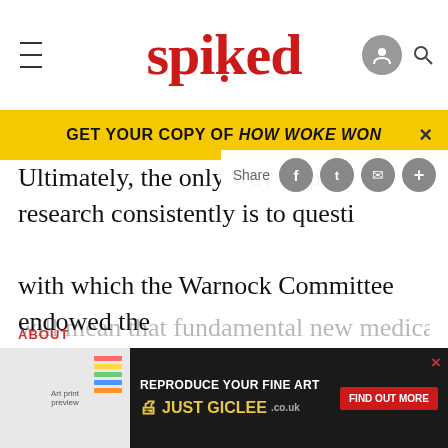spiked
GET YOUR COPY OF HOW WOKE WON
Ultimately, the only way to pursue research consistently is to question the moral status with which the Warnock Committee endowed the embryo. If embryos are viewed as having a special status that marks off human embryo cells from other types of body tissue, then draconian restrictions on embryo research will continue to be inevitable. 'Embryo rights', coupled with the modern nervous affliction of anticipating 'unforeseen consequences', will mean that fundamental new medical treatment is
[Figure (screenshot): Advertisement banner: REPRODUCE YOUR FINE ART - JUST GICLEE - FIND OUT MORE]
ABOUT